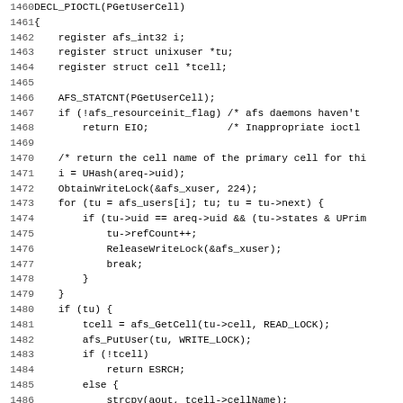Source code listing, lines 1460-1491, C language, function DECL_PIOCTL(PGetUserCell)